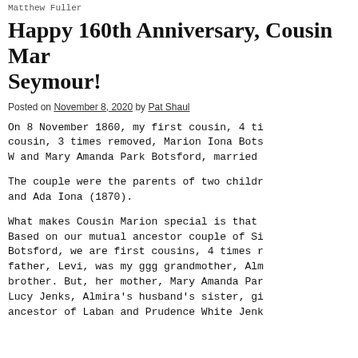Matthew Fuller
Happy 160th Anniversary, Cousin Marion Seymour!
Posted on November 8, 2020 by Pat Shaul
On 8 November 1860, my first cousin, 4 times removed, cousin, 3 times removed, Marion Iona Botsford, daughter of W and Mary Amanda Park Botsford, married
The couple were the parents of two children: and Ada Iona (1870).
What makes Cousin Marion special is that Based on our mutual ancestor couple of Simon Botsford, we are first cousins, 4 times removed. Her father, Levi, was my ggg grandmother, Almira's brother. But, her mother, Mary Amanda Park Lucy Jenks, Almira's husband's sister, giving ancestor of Laban and Prudence White Jenks